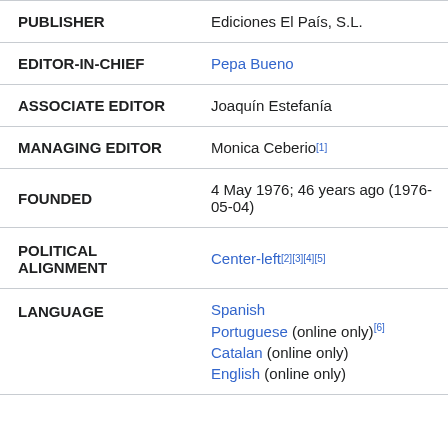| Field | Value |
| --- | --- |
| PUBLISHER | Ediciones El País, S.L. |
| EDITOR-IN-CHIEF | Pepa Bueno |
| ASSOCIATE EDITOR | Joaquín Estefanía |
| MANAGING EDITOR | Monica Ceberio[1] |
| FOUNDED | 4 May 1976; 46 years ago (1976-05-04) |
| POLITICAL ALIGNMENT | Center-left[2][3][4][5] |
| LANGUAGE | Spanish
Portuguese (online only)[6]
Catalan (online only)
English (online only) |